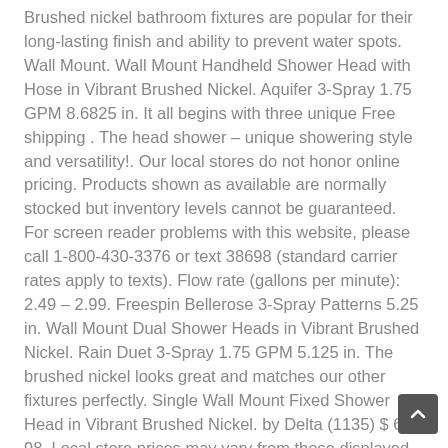Brushed nickel bathroom fixtures are popular for their long-lasting finish and ability to prevent water spots. Wall Mount. Wall Mount Handheld Shower Head with Hose in Vibrant Brushed Nickel. Aquifer 3-Spray 1.75 GPM 8.6825 in. It all begins with three unique Free shipping . The head shower – unique showering style and versatility!. Our local stores do not honor online pricing. Products shown as available are normally stocked but inventory levels cannot be guaranteed. For screen reader problems with this website, please call 1-800-430-3376 or text 38698 (standard carrier rates apply to texts). Flow rate (gallons per minute): 2.49 – 2.99. Freespin Bellerose 3-Spray Patterns 5.25 in. Wall Mount Dual Shower Heads in Vibrant Brushed Nickel. Rain Duet 3-Spray 1.75 GPM 5.125 in. The brushed nickel looks great and matches our other fixtures perfectly. Single Wall Mount Fixed Shower Head in Vibrant Brushed Nickel. by Delta (1135) $ 64 98. Local store prices may vary from those displayed. Top Sellers Most Popular Price Low to High